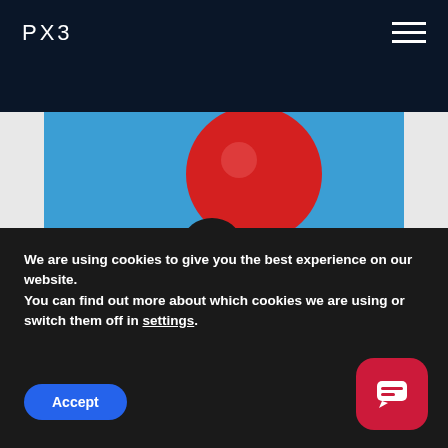PX3
[Figure (photo): Person in a black suit viewed from behind, balancing a large red balloon on their head, against a bright blue background]
We are using cookies to give you the best experience on our website.
You can find out more about which cookies we are using or switch them off in settings.
Accept